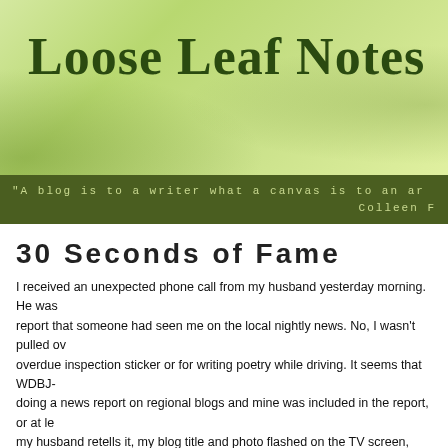Loose Leaf Notes
"A blog is to a writer what a canvas is to an ar... Colleen F...
30 Seconds of Fame
I received an unexpected phone call from my husband yesterday morning. He was... report that someone had seen me on the local nightly news. No, I wasn't pulled ov... overdue inspection sticker or for writing poetry while driving. It seems that WDBJ-... doing a news report on regional blogs and mine was included in the report, or at le... my husband retells it, my blog title and photo flashed on the TV screen, proving o... that blog connections work in the most mysterious ways.
I tried to find out more about the story at the WDBJ website and wasn't able to. Bu... search led me to the Roanoke Times "Columnists" page. Here I discovered my ph... sidebar with a caption that read "Featured Blog." Wow, did I win something? Nobo... me.
I knew that my blog was included in the Roanoke Time's "Blogging in Southwest V... list, along with my fellow Floyd bloggers, Fred First and Doug Thompson, and han... others from Roanoke and Blacksburg. But to be featured on another page was a t... surprise. I figure The Roanoke Times blog list is where the TV station got the lowd... Loose Leaf.
How cool is that? And hey, how come those news people haven't left me any com...